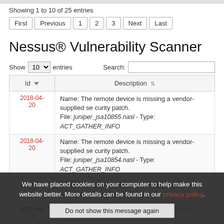Showing 1 to 10 of 25 entries
First  Previous  1  2  3  Next  Last
Nessus® Vulnerability Scanner
Show 10 entries    Search:
| Id | Description |
| --- | --- |
| 2018-04-20 | Name: The remote device is missing a vendor-supplied security patch.
File: juniper_jsa10855.nasl - Type: ACT_GATHER_INFO |
| 2018-04-20 | Name: The remote device is missing a vendor-supplied security patch.
File: juniper_jsa10854.nasl - Type: ACT_GATHER_INFO |
| 2018-04-20 | Name: The remote device is missing a vendor-supplied security patch.
File: juniper_jsa1...nasl - Type: ACT_GATHER_INFO |
| 2018-04-20 | Name: The remote device is missing a vendor-supplied security patch. |
We have placed cookies on your computer to help make this website better. More details can be found in our privacy policy.
Do not show this message again